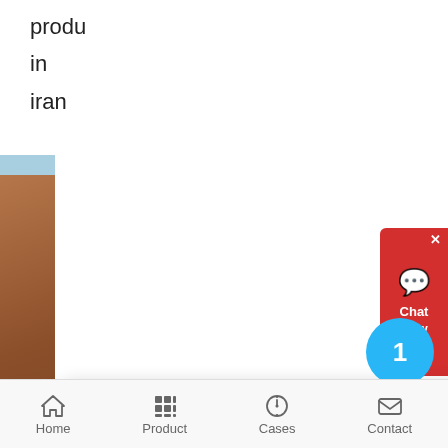produ
in
iran
[Figure (screenshot): Partial photo strip on left side showing a building]
[Figure (screenshot): Chat Now red button on top right]
[Figure (screenshot): Chat popup with Anna avatar, showing language selection message: Welcome, please choose: 1.English 2.Русский 3.Français 4.Español 5.bahasa Indonesia 6.عربی]
C
C
Pr
Pr
Li
In
Ira
C
C
[Figure (screenshot): Blue circle badge with number 1]
Home  Product  Cases  Contact